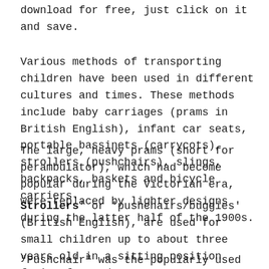download for free, just click on it and save.
Various methods of transporting children have been used in different cultures and times. These methods include baby carriages (prams in British English), infant car seats, portable bassinets (carrycots), strollers (pushchairs), slings, backpacks, baskets and bicycle carriers.
The large, heavy prams (short for perambulator), which had become popular during the Victorian era, were replaced by lighter designs during the latter half of the 1900s.
Strollers' or 'pushchairs/buggies' (British English), are used for small children up to about three years old in a sitting position facing forward.
"Pushchair" was the popularly used term in the UK between